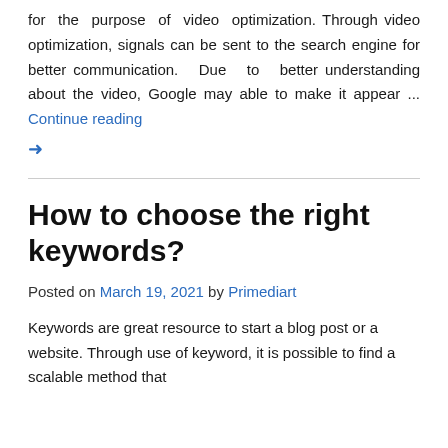for the purpose of video optimization. Through video optimization, signals can be sent to the search engine for better communication. Due to better understanding about the video, Google may able to make it appear ... Continue reading →
How to choose the right keywords?
Posted on March 19, 2021 by Primediart
Keywords are great resource to start a blog post or a website. Through use of keyword, it is possible to find a scalable method that